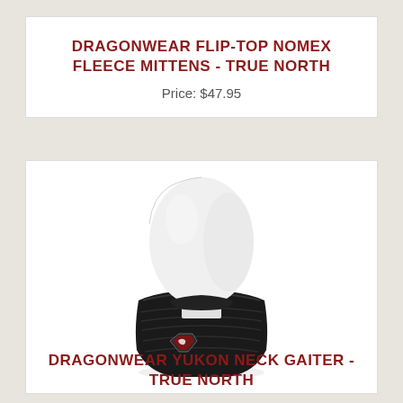DRAGONWEAR FLIP-TOP NOMEX FLEECE MITTENS - TRUE NORTH
Price: $47.95
[Figure (photo): White mannequin head wearing a black neck gaiter/balaclava with a Dragonwear shield logo patch on the front]
DRAGONWEAR YUKON NECK GAITER - TRUE NORTH